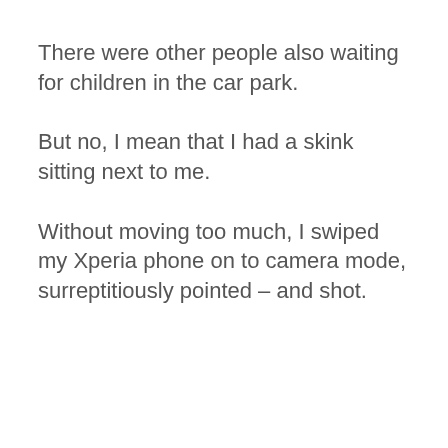There were other people also waiting for children in the car park.
But no, I mean that I had a skink sitting next to me.
Without moving too much, I swiped my Xperia phone on to camera mode, surreptitiously pointed – and shot.